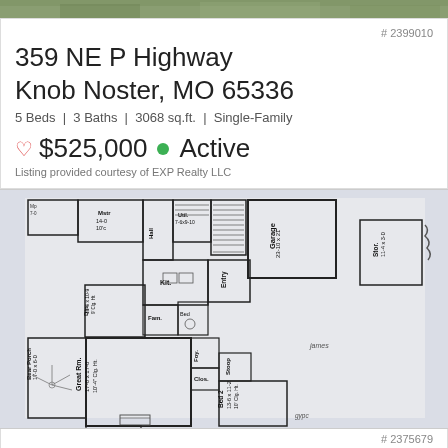[Figure (photo): Top strip photo showing green foliage/grass exterior]
# 2399010
359 NE P Highway
Knob Noster, MO 65336
5 Beds | 3 Baths | 3068 sq.ft. | Single-Family
♡ $525,000 ● Active
Listing provided courtesy of EXP Realty LLC
[Figure (engineering-diagram): Floor plan/blueprint of the home showing rooms: Master, Hall, Util, Garage, Stor. 11-4x3-0, Din. 11-6x10-9 Clg Ht., Kit., Entry, Fam., Bed, Great Rm. 17-0x17-0 10-4 Clg Ht., Bear Porch 17-0x6-0, Foy., Stoop, Clos., Bed 2 13-6x11-2 10 Clg Ht., Hall]
# 2375679